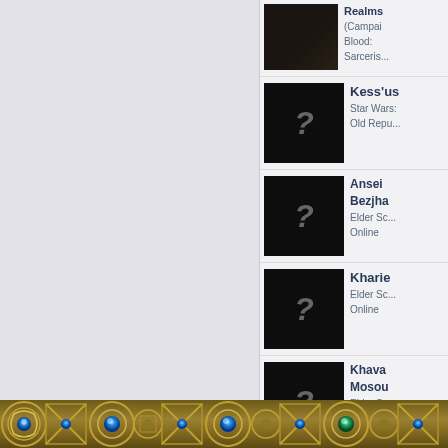[Figure (screenshot): Two-column gray content area (left column lighter gray, middle column slightly darker gray) separated by vertical borders, part of a wiki-style webpage layout]
Realms (Campaign Blood: Sarceris... [thumbnail with dark image]
Kess'us - Star Wars: The Old Republic [thumbnail with question mark]
Ansei Bezjha - Elder Scrolls Online [thumbnail with question mark]
Kharie - Elder Scrolls Online [thumbnail with question mark]
Khava Mosou - Elder Scrolls Online [thumbnail with question mark]
Arnor - Elder Scrolls Online [thumbnail with question mark]
View all...
[Figure (illustration): Decorative bottom border bar with gold/bronze Celtic-style knotwork pattern with blue gemstones]